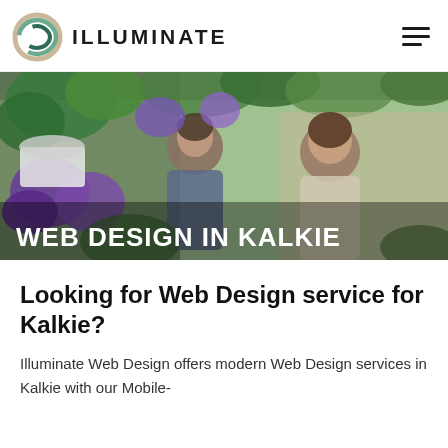ILLUMINATE
[Figure (photo): Two people (a man and a woman) in a flower shop or garden centre, surrounded by colourful potted plants and flowers including purple and pink blooms. Text overlay reads WEB DESIGN IN KALKIE.]
Looking for Web Design service for Kalkie?
Illuminate Web Design offers modern Web Design services in Kalkie with our Mobile-